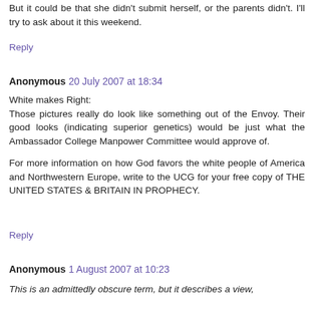But it could be that she didn't submit herself, or the parents didn't. I'll try to ask about it this weekend.
Reply
Anonymous 20 July 2007 at 18:34
White makes Right:
Those pictures really do look like something out of the Envoy. Their good looks (indicating superior genetics) would be just what the Ambassador College Manpower Committee would approve of.

For more information on how God favors the white people of America and Northwestern Europe, write to the UCG for your free copy of THE UNITED STATES & BRITAIN IN PROPHECY.
Reply
Anonymous 1 August 2007 at 10:23
This is an admittedly obscure term, but it describes a view,